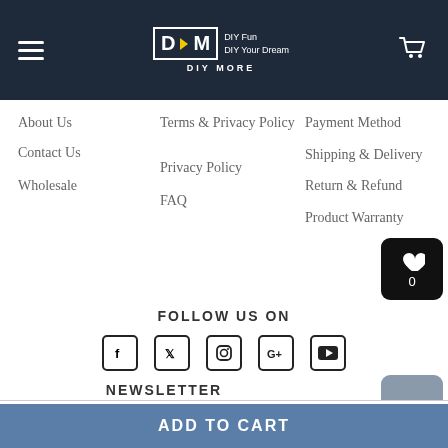[Figure (logo): DIY MORE logo with hamburger menu and cart icon on dark navy header bar]
About Us
Contact Us
Wholesale
Terms & Privacy Policy
Privacy Policy
FAQ
Payment Method
Shipping & Delivery
Return & Refund
Product Warranty
FOLLOW US ON
[Figure (infographic): Social media icons: Facebook, Twitter, Instagram, Google+, YouTube]
NEWSLETTER
Email address
ADD TO CART